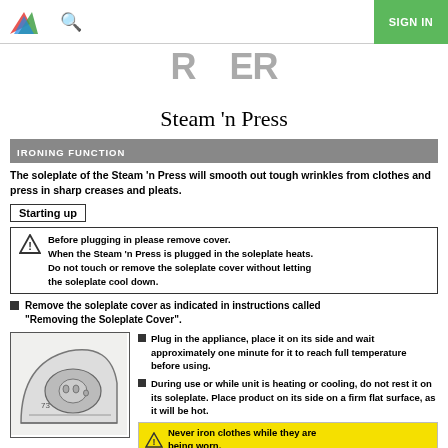SIGN IN
Steam 'n Press
IRONING FUNCTION
The soleplate of the Steam 'n Press will smooth out tough wrinkles from clothes and press in sharp creases and pleats.
Starting up
Before plugging in please remove cover. When the Steam 'n Press is plugged in the soleplate heats. Do not touch or remove the soleplate cover without letting the soleplate cool down.
Remove the soleplate cover as indicated in instructions called "Removing the Soleplate Cover".
[Figure (engineering-diagram): Illustration of the iron soleplate viewed from the front/tip angle, showing the soleplate surface with steam holes.]
Plug in the appliance, place it on its side and wait approximately one minute for it to reach full temperature before using.
During use or while unit is heating or cooling, do not rest it on its soleplate. Place product on its side on a firm flat surface, as it will be hot.
Never iron clothes while they are being worn.